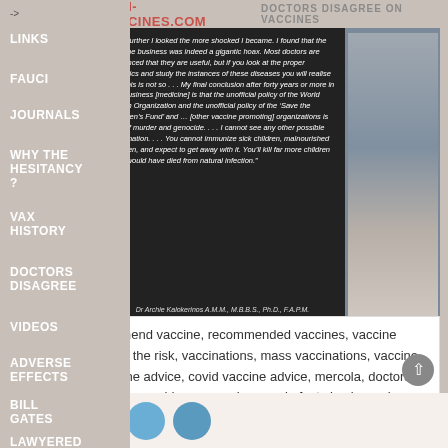->
LINKS
FAUCI
JOURNALS
WHY THE HESITANCY?
VAX HISTORY
DOCTORS DISAGREE
VIDEOS
ADVERSE EFFECTS
BILL GATES
LAWYERED
ANTI-VACCINES.COM
DOCTORS DISAGREE ON VACCINES
[Figure (photo): Elderly male doctor photo with quote overlay. Quote reads: "The further I looked the more shocked I became. I found that the vaccine business was indeed a gigantic hoax. Most doctors are convinced that they are useful, but if you look at the proper statistics and study the instances of these diseases you will realise that this is not so... My final conclusion after forty years or more in this business [medicine] is that the unofficial policy of the World Health Organization and the unofficial policy of the 'Save the Children's Fund' and ... [other vaccine promoting] organizations is one of murder and genocide.... I cannot see any other possible explanation.... You cannot immunize sick children, malnourished children, and expect to get away with it. You'll kill far more children than would have died from natural infection." — Dr Archie Kalokerinos A.M.M., M.B.B.S., Ph.D., F.A.P.M.]
doctors recommend vaccine, recommended vaccines, vaccine warnings, worth the risk, vaccinations, mass vaccinations, vaccine research, vaccine advice, covid vaccine advice, mercola, doctors, new research, new evidence, vaccines work, fact check vaccine, misinformation,
[Figure (illustration): Row of social media / sharing icons: orange icon, gray email icon, blue icon, blue bird/twitter icon]